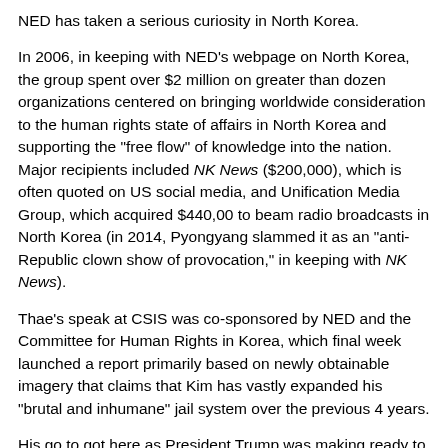NED has taken a serious curiosity in North Korea.
In 2006, in keeping with NED’s webpage on North Korea, the group spent over $2 million on greater than dozen organizations centered on bringing worldwide consideration to the human rights state of affairs in North Korea and supporting the “free flow” of knowledge into the nation. Major recipients included NK News ($200,000), which is often quoted on US social media, and Unification Media Group, which acquired $440,00 to beam radio broadcasts in North Korea (in 2014, Pyongyang slammed it as an “anti-Republic clown show of provocation,” in keeping with NK News).
Thae’s speak at CSIS was co-sponsored by NED and the Committee for Human Rights in Korea, which final week launched a report primarily based on newly obtainable imagery that claims that Kim has vastly expanded his “brutal and inhumane” jail system over the previous 4 years.
His go to got here as President Trump was making ready to go to South Korea to focus world consideration on his marketing campaign to finish North Korea’s nuclear and ICBM packages. With Trump prone to face opposition and demonstrations towards his militaristic insurance policies in South Thae’s remark was in Washington was not taken...